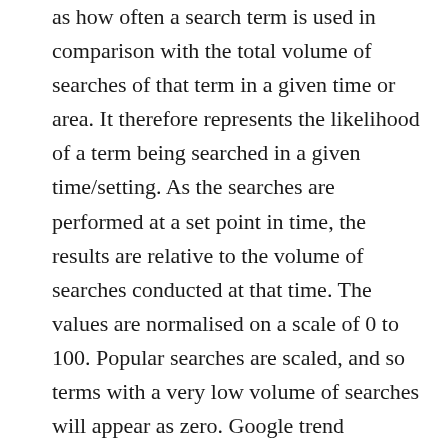as how often a search term is used in comparison with the total volume of searches of that term in a given time or area. It therefore represents the likelihood of a term being searched in a given time/setting. As the searches are performed at a set point in time, the results are relative to the volume of searches conducted at that time. The values are normalised on a scale of 0 to 100. Popular searches are scaled, and so terms with a very low volume of searches will appear as zero. Google trend excludes data from the same internet users repeating the same search, as well as searches that include special characters.